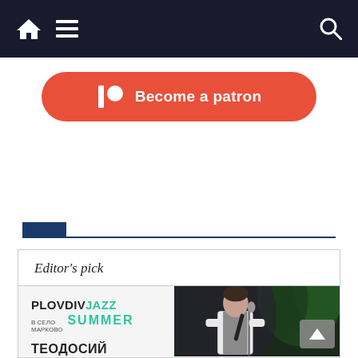Navigation bar with home, menu, and search icons
[Figure (other): Patreon button - red/orange rounded rectangle with Patreon logo and text 'Become a patron']
[Figure (other): Small dark blue rectangular label/tag above a dark blue horizontal divider line]
Editor's pick
[Figure (photo): Plovdiv Jazz Summer concert poster (left) showing 'PLOVDIV JAZZ В СЕЛО МАРКОВО SUMMER ТЕОДОСИЙ СПАСОВ ДЖАЗ КВИНТЕТ' with artist names listed below, next to a photo of a man in white shirt and vest playing clarinet on a dark stage with green plant in background]